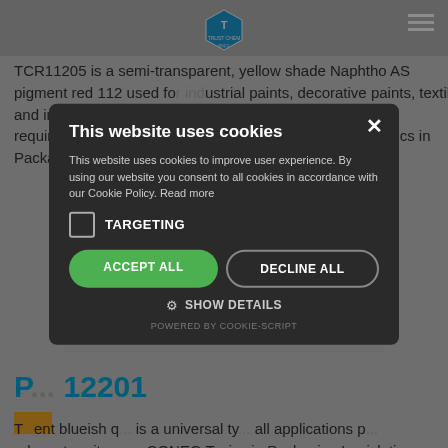TCR11205 is a semi-transparent, yellow shade Naphtho AS pigment red 112 used for industrial paints, decorative paints, textile and inks. TCR11205 is compliant with the relevant purity requirements of EU Directive 94/62/EC, U.S. CONEG Toxics in Packaging Legislation and EU Directive 2...
PR 12201
T... ent blueish q... is a universal ty... all applications p... relevant purity re... S. CONEG Toxics in Packaging Legislation and EU Directive
[Figure (screenshot): Cookie consent modal dialog with dark background. Title: 'This website uses cookies'. Body text: 'This website uses cookies to improve user experience. By using our website you consent to all cookies in accordance with our Cookie Policy. Read more'. Checkbox labeled TARGETING. Buttons: ACCEPT ALL (green), DECLINE ALL (outlined). SHOW DETAILS option. Powered by COOKIE-SCRIPT footer.]